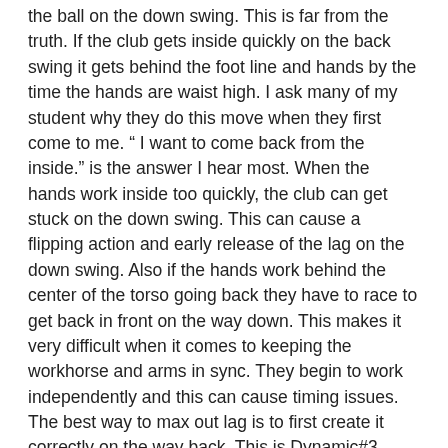the ball on the down swing. This is far from the truth. If the club gets inside quickly on the back swing it gets behind the foot line and hands by the time the hands are waist high. I ask many of my student why they do this move when they first come to me. “ I want to come back from the inside.” is the answer I hear most. When the hands work inside too quickly, the club can get stuck on the down swing. This can cause a flipping action and early release of the lag on the down swing. Also if the hands work behind the center of the torso going back they have to race to get back in front on the way down. This makes it very difficult when it comes to keeping the workhorse and arms in sync. They begin to work independently and this can cause timing issues. The best way to max out lag is to first create it correctly on the way back. This is Dynamic#3 loading the club on the back swing. This proper loading of the club helps maintain more lag in delivering the lag to impact. So how can we do this loading action correctly? The lead hand wants to hinge up as the shoulders turn back. Below are three photos. The first is the hands at address. The